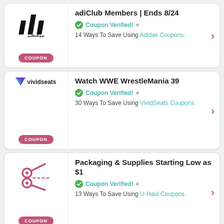adiClub Members | Ends 8/24 — Coupon Verified! — 14 Ways To Save Using Adidas Coupons.
[Figure (logo): Adidas logo with three stripes and COUPON badge]
Watch WWE WrestleMania 39 — Coupon Verified! — 30 Ways To Save Using VividSeats Coupons.
[Figure (logo): Vivid Seats logo with triangle and COUPON badge]
Packaging & Supplies Starting Low as $1 — Coupon Verified! — 13 Ways To Save Using U-Haul Coupons.
[Figure (logo): Scissors icon for U-Haul with COUPON badge]